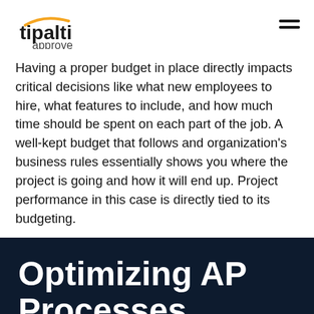tipalti approve
Having a proper budget in place directly impacts critical decisions like what new employees to hire, what features to include, and how much time should be spent on each part of the job. A well-kept budget that follows and organization's business rules essentially shows you where the project is going and how it will end up. Project performance in this case is directly tied to its budgeting.
Optimizing AP Processes with